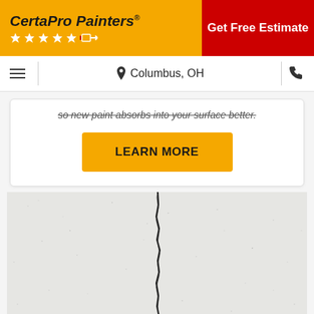[Figure (logo): CertaPro Painters logo with yellow background, stars row, and red Get Free Estimate button on the right]
Columbus, OH
so new paint absorbs into your surface better.
LEARN MORE
[Figure (photo): Close-up photo of a cracked painted wall surface with a vertical dark crack running through a white/light gray textured surface]